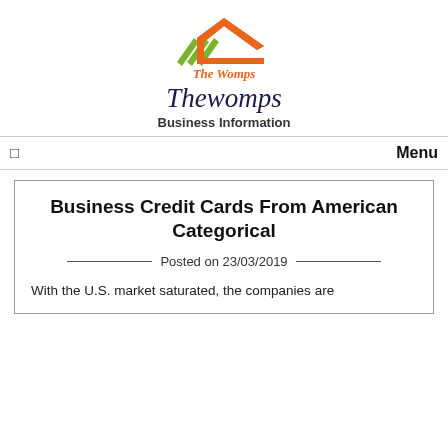[Figure (logo): The Womps logo: green and orange chevron/roof shapes above italic orange text reading 'The Womps']
Thewomps
Business Information
Menu
Business Credit Cards From American Categorical
Posted on 23/03/2019
With the U.S. market saturated, the companies are